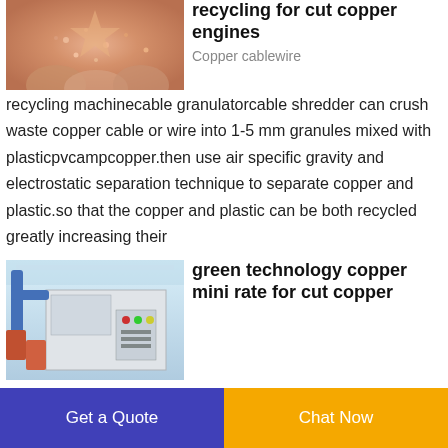[Figure (photo): Hand holding pink/copper granules from copper cable recycling]
recycling for cut copper engines
Copper cablewire recycling machinecable granulatorcable shredder can crush waste copper cable or wire into 1-5 mm granules mixed with plasticpvcampcopper.then use air specific gravity and electrostatic separation technique to separate copper and plastic.so that the copper and plastic can be both recycled greatly increasing their
[Figure (photo): Industrial copper recycling machine in a factory setting with blue pipes and control panel]
green technology copper mini rate for cut copper
Get a Quote
Chat Now